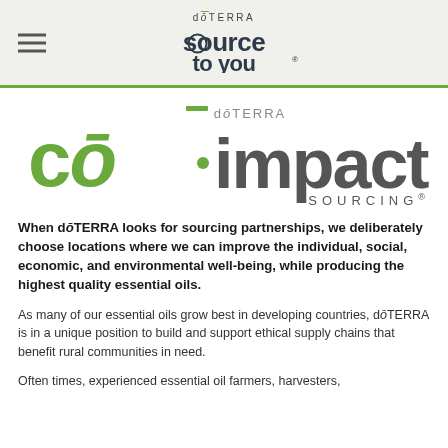dōTERRA source to you
[Figure (logo): dōTERRA cō·impact SOURCING logo with green 'cō' text and grey 'impact' and 'SOURCING' text]
When dōTERRA looks for sourcing partnerships, we deliberately choose locations where we can improve the individual, social, economic, and environmental well-being, while producing the highest quality essential oils.
As many of our essential oils grow best in developing countries, dōTERRA is in a unique position to build and support ethical supply chains that benefit rural communities in need.
Often times, experienced essential oil farmers, harvesters,